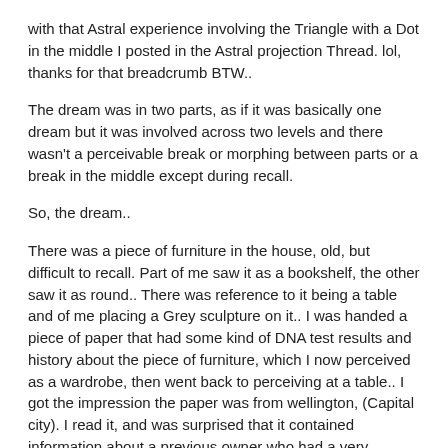with that Astral experience involving the Triangle with a Dot in the middle I posted in the Astral projection Thread. lol, thanks for that breadcrumb BTW..
The dream was in two parts, as if it was basically one dream but it was involved across two levels and there wasn't a perceivable break or morphing between parts or a break in the middle except during recall.
So, the dream..
There was a piece of furniture in the house, old, but difficult to recall. Part of me saw it as a bookshelf, the other saw it as round.. There was reference to it being a table and of me placing a Grey sculpture on it.. I was handed a piece of paper that had some kind of DNA test results and history about the piece of furniture, which I now perceived as a wardrobe, then went back to perceiving at a table.. I got the impression the paper was from wellington, (Capital city). I read it, and was surprised that it contained information about a previous owner who had a very dubious past.. After reading it, or perceiving the information (it was telepathic info) I went outside and sat on the doorstep with the intention of passing on the information to someone else, who, weirdly enough I perceived as myself or part of myself. Perhaps.. (I'm still unsure about some of my dream characters.)